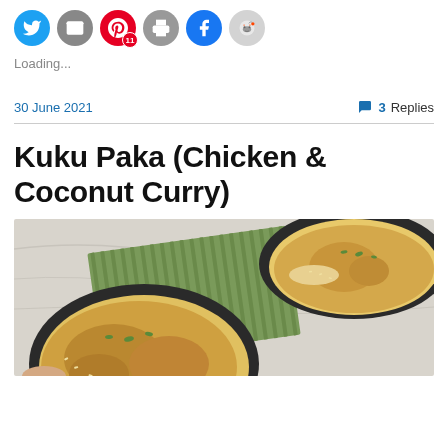[Figure (other): Row of social sharing icon buttons: Twitter (blue), Email (grey), Pinterest (red with count 11), Print (grey), Facebook (blue), Reddit (light grey)]
Loading...
30 June 2021   💬 3 Replies
Kuku Paka (Chicken & Coconut Curry)
[Figure (photo): Food photo showing two dark bowls of Kuku Paka (chicken and coconut curry) with a green striped cloth/napkin on a marble surface. The curry is golden/yellow coloured with chicken pieces and garnished with herbs.]